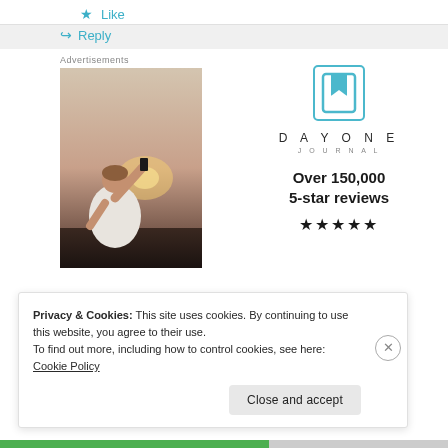★ Like
↪ Reply
Advertisements
[Figure (photo): Person photographing sunset with a phone, viewed from behind, wearing a white t-shirt]
[Figure (logo): Day One Journal logo: blue bookmark icon with text DAYONE JOURNAL]
Over 150,000
5-star reviews
★★★★★
Privacy & Cookies: This site uses cookies. By continuing to use this website, you agree to their use.
To find out more, including how to control cookies, see here: Cookie Policy
Close and accept